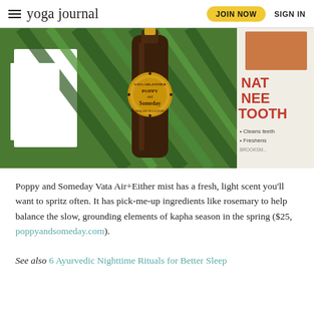yoga journal | JOIN NOW | SIGN IN
[Figure (photo): Product photo of Poppy and Someday Vata Air+Either mist bottle (dark amber glass with gold circular label reading 'VATA AIR+EITHER POPPY and SOMEDAY HANDMADE IN CALIFORNIA') lying on green palm leaves. On the right edge, a partial view of a Natural Neem Toothpaste box is visible.]
Poppy and Someday Vata Air+Either mist has a fresh, light scent you’ll want to spritz often. It has pick-me-up ingredients like rosemary to help balance the slow, grounding elements of kapha season in the spring ($25, poppyandsomeday.com).
See also 6 Ayurvedic Nighttime Rituals for Better Sleep